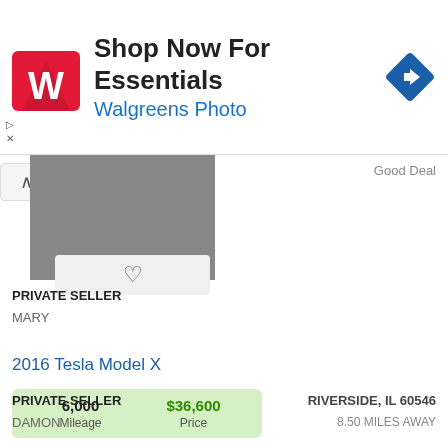[Figure (screenshot): Walgreens Photo advertisement banner with logo, 'Shop Now For Essentials' headline, and navigation icon]
Good Deal
PRIVATE SELLER
MARY
2016 Tesla Model X
| Mileage | Price |
| --- | --- |
| 6,000 | $36,600 |
RIVERSIDE, IL 60546
8.50 MILES AWAY
[Figure (photo): White Tesla Model X with falcon wing doors open, front view, photo count badge showing 3]
PRIVATE SELLER
DAMON